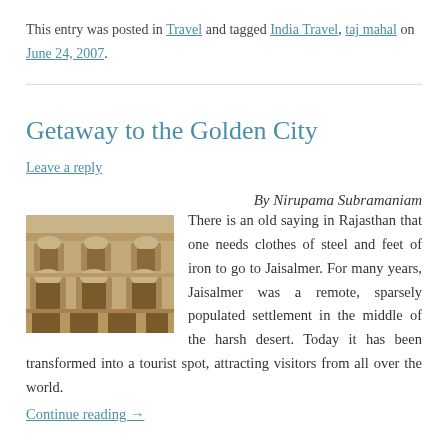This entry was posted in Travel and tagged India Travel, taj mahal on June 24, 2007.
Getaway to the Golden City
Leave a reply
By Nirupama Subramaniam
[Figure (photo): Photo of ornate stone building facade with balconies and arched windows in Jaisalmer, Rajasthan]
There is an old saying in Rajasthan that one needs clothes of steel and feet of iron to go to Jaisalmer. For many years, Jaisalmer was a remote, sparsely populated settlement in the middle of the harsh desert. Today it has been transformed into a tourist spot, attracting visitors from all over the world.
Continue reading →